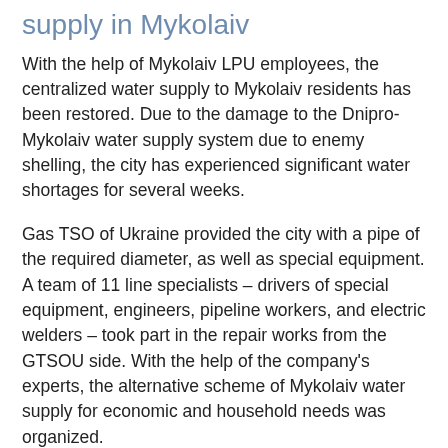supply in Mykolaiv
With the help of Mykolaiv LPU employees, the centralized water supply to Mykolaiv residents has been restored. Due to the damage to the Dnipro-Mykolaiv water supply system due to enemy shelling, the city has experienced significant water shortages for several weeks.
Gas TSO of Ukraine provided the city with a pipe of the required diameter, as well as special equipment. A team of 11 line specialists – drivers of special equipment, engineers, pipeline workers, and electric welders – took part in the repair works from the GTSOU side. With the help of the company's experts, the alternative scheme of Mykolaiv water supply for economic and household needs was organized.
Mykolaiv military administration expressed gratitude to the GTSOU team for the “prompt supply of material resources.” The head of the Mykolaiv Regional Military